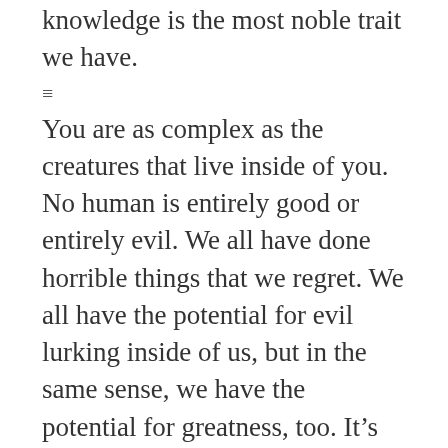knowledge is the most noble trait we have.
≡
You are as complex as the creatures that live inside of you. No human is entirely good or entirely evil. We all have done horrible things that we regret. We all have the potential for evil lurking inside of us, but in the same sense, we have the potential for greatness, too. It's up to us which path we choose.
I don't think you're fair. I don't believe that, because if you are, you've got a pretty fucked up sense of fair play. Some good people live their entire lives in misery, while others who sew evil and selfishness live in total impunity. They achieve power and do